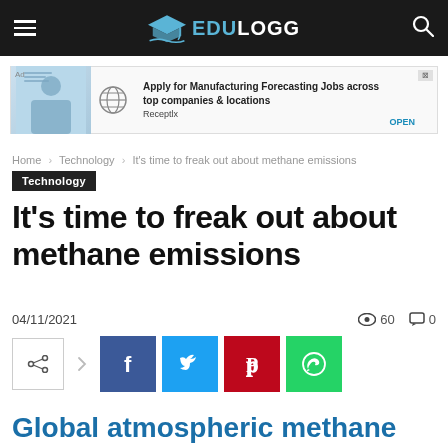EDULOGG
[Figure (screenshot): Advertisement banner for Manufacturing Forecasting jobs from Receptix]
Home › Technology › It's time to freak out about methane emissions
Technology
It's time to freak out about methane emissions
04/11/2021  👁 60  💬 0
[Figure (infographic): Social share buttons: share icon, arrow, Facebook, Twitter, Pinterest, WhatsApp]
Global atmospheric methane